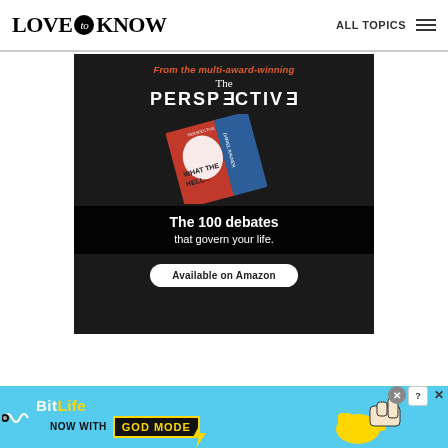LOVE to KNOW | ALL TOPICS
[Figure (illustration): Advertisement for 'The Perspective' book by Daniel Ravner. Dark background with red and blue book showing text 'WHAT THE HELL...' with overlay text 'The 100 debates that govern your life.' and 'Available on Amazon' button. Header reads 'From the multi-award-winning'.]
[Figure (illustration): BitLife mobile game advertisement on light blue background. Shows BitLife logo with text 'NOW WITH GOD MODE' and cartoon hand pointing finger icon. Close and help buttons in top right corner.]